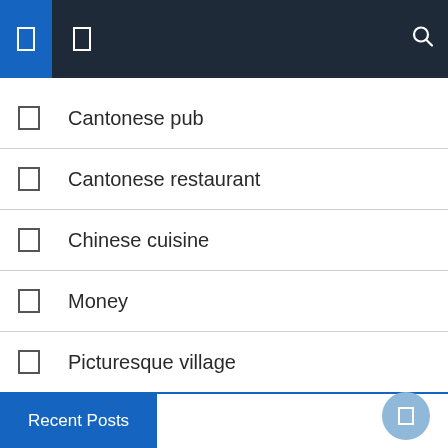[Navigation bar with icons and search]
Cantonese pub
Cantonese restaurant
Chinese cuisine
Money
Picturesque village
Recent Posts
Recent Posts